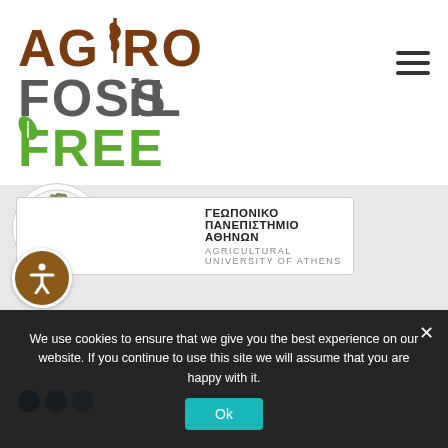[Figure (logo): AgroFossilFree logo with stylized text: AGRO in brown, FOSSIL in grey with brown i-dot, FREE in green with leaf icon]
[Figure (logo): Agricultural University of Athens logo: circular illustrated emblem with Greek figure, text ΓΕΩΠΟΝΙΚΟ ΠΑΝΕΠΙΣΤΗΜΙΟ ΑΘΗΝΩΝ and AGRICULTURAL UNIVERSITY OF ATHENS]
[Figure (illustration): Accessibility icon button: brown circle with white universal accessibility human figure symbol]
We use cookies to ensure that we give you the best experience on our website. If you continue to use this site we will assume that you are happy with it.
Ok